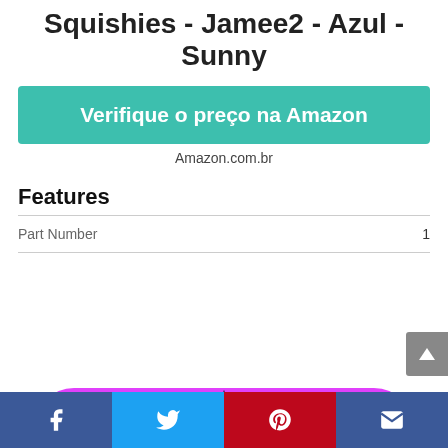Squishies - Jamee2 - Azul - Sunny
Verifique o preço na Amazon
Amazon.com.br
Features
|  |  |
| --- | --- |
| Part Number | 1 |
[Figure (illustration): Cartoon unicorn illustration with rainbow horn and colorful ears, inside a pink rounded rectangle frame]
[Figure (infographic): Social media sharing bar with Facebook, Twitter, Pinterest, and email icons]